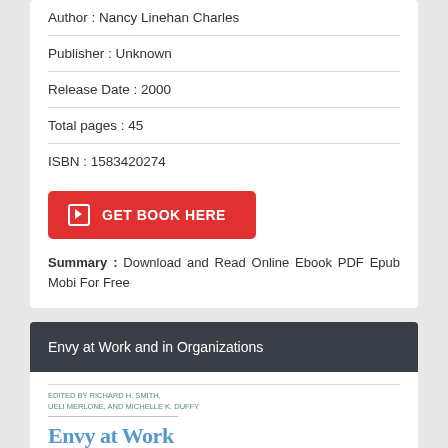Author : Nancy Linehan Charles
Publisher : Unknown
Release Date : 2000
Total pages : 45
ISBN : 1583420274
GET BOOK HERE
Summary : Download and Read Online Ebook PDF Epub Mobi For Free
Envy at Work and in Organizations
[Figure (other): Partial view of a book cover showing author names in small teal text and the beginning of the title 'Envy at Work' in large blue serif font]